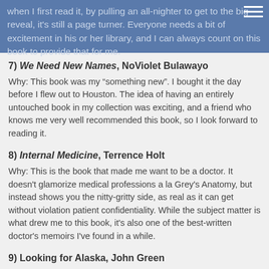when I first read it, by pulling an all-nighter to get to the big reveal, it's still a page turner. Everyone needs a bit of excitement in his or her library, and I can always count on this book to provide that for me.
7) We Need New Names, NoViolet Bulawayo
Why: This book was my “something new”. I bought it the day before I flew out to Houston. The idea of having an entirely untouched book in my collection was exciting, and a friend who knows me very well recommended this book, so I look forward to reading it.
8) Internal Medicine, Terrence Holt
Why: This is the book that made me want to be a doctor. It doesn't glamorize medical professions a la Grey's Anatomy, but instead shows you the nitty-gritty side, as real as it can get without violation patient confidentiality. While the subject matter is what drew me to this book, it's also one of the best-written doctor's memoirs I've found in a while.
9) Looking for Alaska, John Green